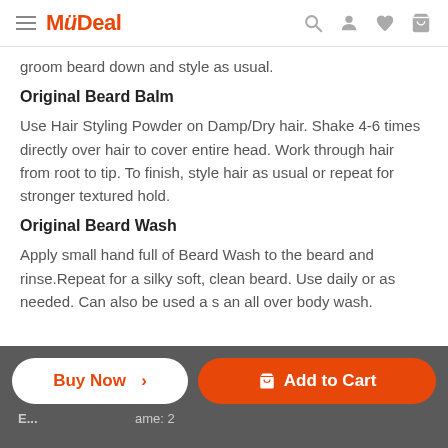MyDeal
groom beard down and style as usual.
Original Beard Balm
Use Hair Styling Powder on Damp/Dry hair. Shake 4-6 times directly over hair to cover entire head. Work through hair from root to tip. To finish, style hair as usual or repeat for stronger textured hold.
Original Beard Wash
Apply small hand full of Beard Wash to the beard and rinse.Repeat for a silky soft, clean beard. Use daily or as needed. Can also be used a s an all over body wash.
Buy Now > | Add to Cart | E... ame: 2